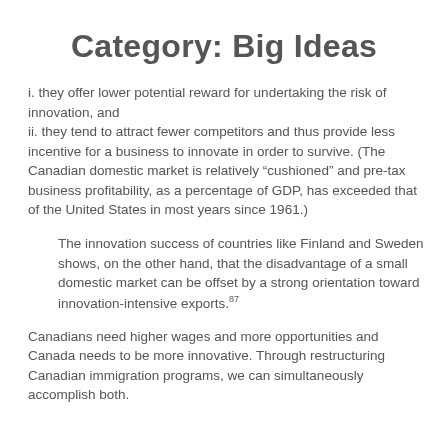Category: Big Ideas
i. they offer lower potential reward for undertaking the risk of innovation, and
ii. they tend to attract fewer competitors and thus provide less incentive for a business to innovate in order to survive. (The Canadian domestic market is relatively "cushioned" and pre-tax business profitability, as a percentage of GDP, has exceeded that of the United States in most years since 1961.)
The innovation success of countries like Finland and Sweden shows, on the other hand, that the disadvantage of a small domestic market can be offset by a strong orientation toward innovation-intensive exports.87
Canadians need higher wages and more opportunities and Canada needs to be more innovative. Through restructuring Canadian immigration programs, we can simultaneously accomplish both.